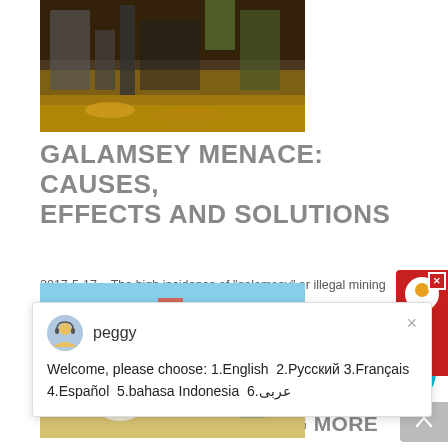[Figure (photo): Mining excavation site with machinery, warm orange/brown tones, industrial mining environment]
GALAMSEY MENACE: CAUSES, EFFECTS AND SOLUTIONS
2017-5-17   The high incidence of "galamsey" or illegal mining
Welcome, please choose: 1.English  2.Русский 3.Français  4.Español  5.bahasa Indonesia  6.عربى
[Figure (photo): Industrial mining processing plant with blue conveyor belts and machinery against a yellow building and blue sky]
5 WAYS TO MAKE MINING MORE